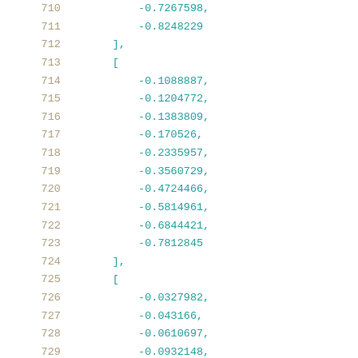710    -0.7267598,
711    -0.8248229
712 ],
713 [
714    -0.1088887,
715    -0.1204772,
716    -0.1383809,
717    -0.170526,
718    -0.2335957,
719    -0.3560729,
720    -0.4724466,
721    -0.5814961,
722    -0.6844421,
723    -0.7812845
724 ],
725 [
726    -0.0327982,
727    -0.043166,
728    -0.0610697,
729    -0.0932148,
730    -0.1575052,